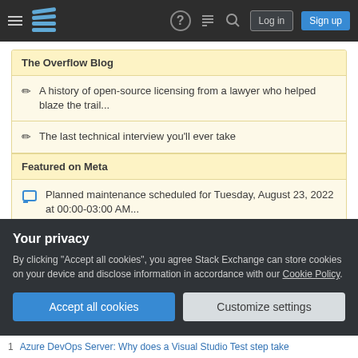Stack Exchange navigation bar with hamburger menu, logo, help, chat, search icons, Log in and Sign up buttons
The Overflow Blog
A history of open-source licensing from a lawyer who helped blaze the trail...
The last technical interview you'll ever take
Featured on Meta
Planned maintenance scheduled for Tuesday, August 23, 2022 at 00:00-03:00 AM...
Your privacy
By clicking "Accept all cookies", you agree Stack Exchange can store cookies on your device and disclose information in accordance with our Cookie Policy.
Accept all cookies   Customize settings
1   Azure DevOps Server: Why does a Visual Studio Test step take